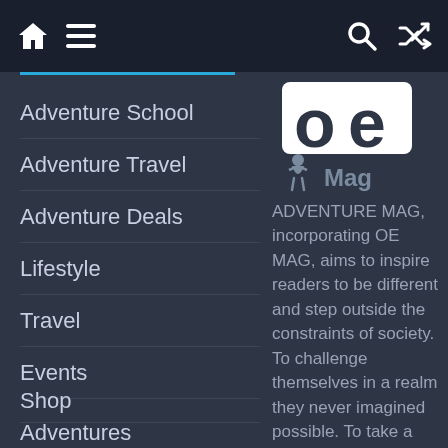Navigation bar with home, menu, search, and shuffle icons
Adventure School
Adventure Travel
Adventure Deals
Lifestyle
Travel
Events
Shop
Adventures
[Figure (logo): OE Mag logo — white square letters 'oe' with 'Mag' text and a figure silhouette]
ADVENTURE MAG, incorporating OE MAG, aims to inspire readers to be different and step outside the constraints of society. To challenge themselves in a realm they never imagined possible. To take a leap out of their comfort